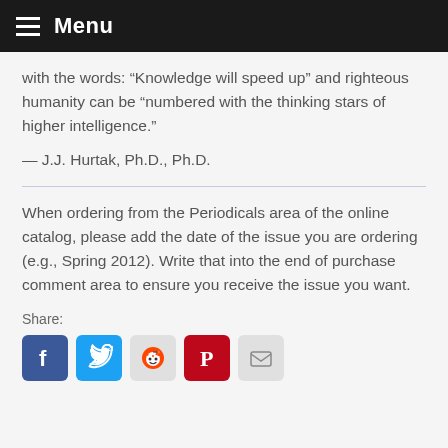Menu
with the words: “Knowledge will speed up” and righteous humanity can be “numbered with the thinking stars of higher intelligence.”
— J.J. Hurtak, Ph.D., Ph.D.
When ordering from the Periodicals area of the online catalog, please add the date of the issue you are ordering (e.g., Spring 2012). Write that into the end of purchase comment area to ensure you receive the issue you want.
Share:
[Figure (other): Social media share buttons: Facebook, Twitter, Reddit, Pinterest, Email]